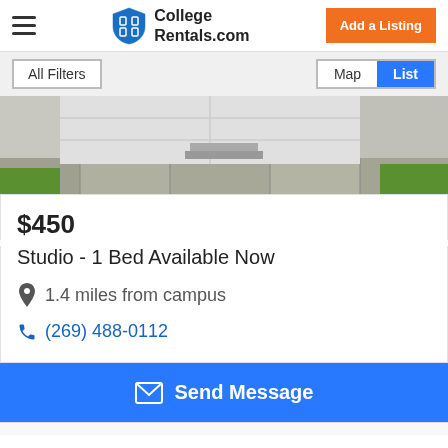College Rentals.com | Add a Listing
All Filters | Map | List
[Figure (photo): Exterior photo of a rental property showing a white garage door, concrete walkway, and green grass lawn]
$450
Studio - 1 Bed Available Now
1.4 miles from campus
(269) 488-0112
Send Message